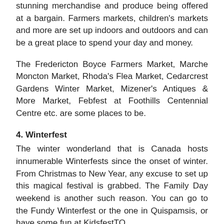stunning merchandise and produce being offered at a bargain. Farmers markets, children's markets and more are set up indoors and outdoors and can be a great place to spend your day and money.
The Fredericton Boyce Farmers Market, Marche Moncton Market, Rhoda's Flea Market, Cedarcrest Gardens Winter Market, Mizener's Antiques & More Market, Febfest at Foothills Centennial Centre etc. are some places to be.
4. Winterfest
The winter wonderland that is Canada hosts innumerable Winterfests since the onset of winter. From Christmas to New Year, any excuse to set up this magical festival is grabbed. The Family Day weekend is another such reason. You can go to the Fundy Winterfest or the one in Quispamsis, or have some fun at KidsfestTO.
Other such Winter Festivals throughout the country are the Evergreen Winterfest, Hamilton Winterfest, Cochrane Winter